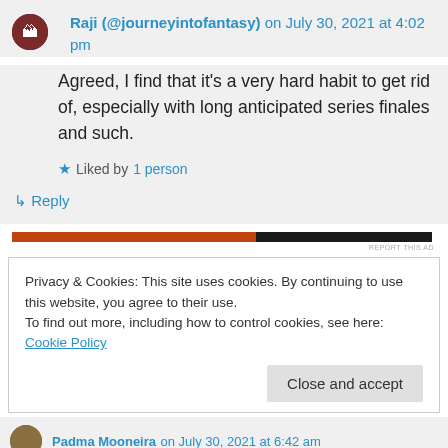Raji (@journeyintofantasy) on July 30, 2021 at 4:02 pm
Agreed, I find that it's a very hard habit to get rid of, especially with long anticipated series finales and such.
Liked by 1 person
Reply
[Figure (other): Horizontal advertisement bar with orange and black segments, labeled REPORT THIS AD]
Privacy & Cookies: This site uses cookies. By continuing to use this website, you agree to their use.
To find out more, including how to control cookies, see here: Cookie Policy
Close and accept
Padma Mooneira on July 30, 2021 at 6:42 am